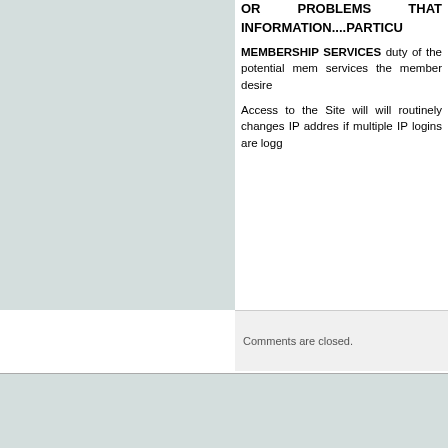OR PROBLEMS THAT INFORMATION....PARTICU
MEMBERSHIP SERVICES duty of the potential member services the member desire
Access to the Site will will routinely changes IP address if multiple IP logins are logg
Comments are closed.
Search Lawful Money!
Read Previous Posts August 2022 S M T W T F 1 2 3 4 5